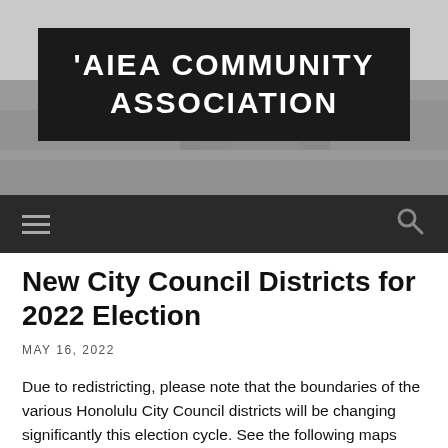[Figure (photo): Grayscale aerial/landscape photograph of a town or village area used as the website header background image]
'AIEA COMMUNITY ASSOCIATION
Navigation bar with hamburger menu and search icon
New City Council Districts for 2022 Election
MAY 16, 2022
Due to redistricting, please note that the boundaries of the various Honolulu City Council districts will be changing significantly this election cycle. See the following maps below (you can click the images for